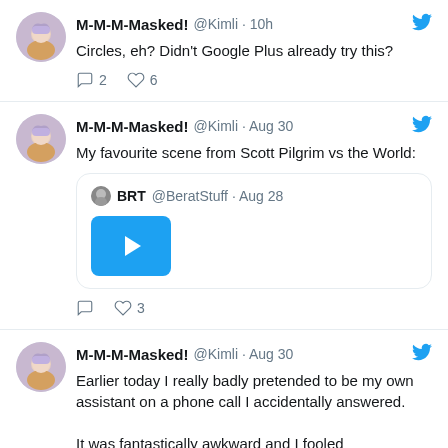M-M-M-Masked! @Kimli · 10h — Circles, eh? Didn't Google Plus already try this? — Replies: 2, Likes: 6
M-M-M-Masked! @Kimli · Aug 30 — My favourite scene from Scott Pilgrim vs the World: [quoted tweet: BRT @BeratStuff · Aug 28 with video] — Replies: 0, Likes: 3
M-M-M-Masked! @Kimli · Aug 30 — Earlier today I really badly pretended to be my own assistant on a phone call I accidentally answered. It was fantastically awkward and I fooled